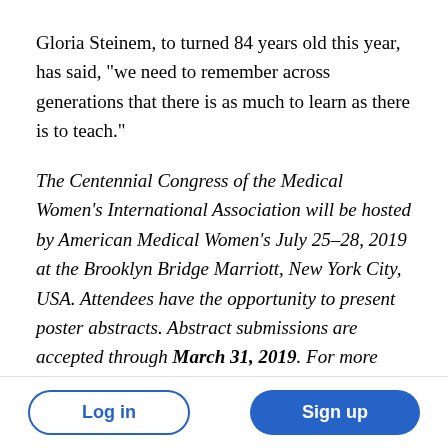Gloria Steinem, to turned 84 years old this year, has said, "we need to remember across generations that there is as much to learn as there is to teach."
The Centennial Congress of the Medical Women's International Association will be hosted by American Medical Women's July 25–28, 2019 at the Brooklyn Bridge Marriott, New York City, USA. Attendees have the opportunity to present poster abstracts. Abstract submissions are accepted through March 31, 2019. For more information about the conference and to submit an abstract, please contact
Log in | Sign up